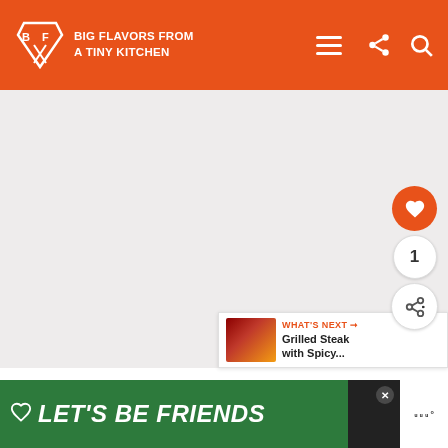BIG FLAVORS FROM A TINY KITCHEN
[Figure (photo): Large image placeholder area (gray/white background) for a recipe photo]
1. Heat the cast iron skillet over high heat.
2. Preheat an oven to 450°F.
3.
[Figure (infographic): WHAT'S NEXT: Grilled Steak with Spicy... — sidebar widget with thumbnail]
[Figure (infographic): LET'S BE FRIENDS ad banner with dog illustration — green background advertisement]